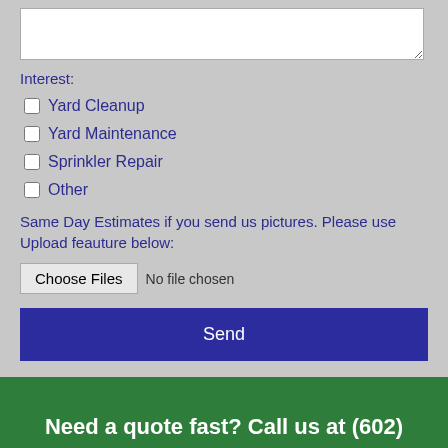Interest:
Yard Cleanup
Yard Maintenance
Sprinkler Repair
Other
Same Day Estimates if you send us pictures. Please use Upload feauture below:
Choose Files  No file chosen
Send
Need a quote fast? Call us at (602) 944-0421 today!